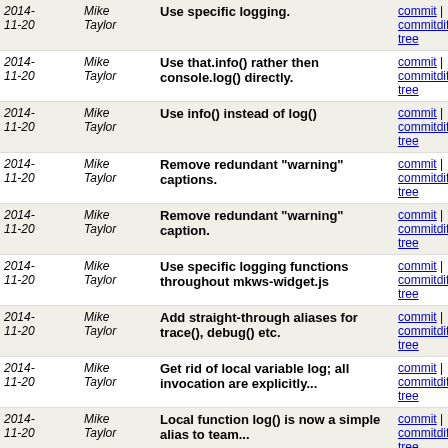| Date | Author | Message | Links |
| --- | --- | --- | --- |
| 2014-11-20 | Mike Taylor | Use specific logging. | commit | commitdiff | tree |
| 2014-11-20 | Mike Taylor | Use that.info() rather then console.log() directly. | commit | commitdiff | tree |
| 2014-11-20 | Mike Taylor | Use info() instead of log() | commit | commitdiff | tree |
| 2014-11-20 | Mike Taylor | Remove redundant "warning" captions. | commit | commitdiff | tree |
| 2014-11-20 | Mike Taylor | Remove redundant "warning" caption. | commit | commitdiff | tree |
| 2014-11-20 | Mike Taylor | Use specific logging functions throughout mkws-widget.js | commit | commitdiff | tree |
| 2014-11-20 | Mike Taylor | Add straight-through aliases for trace(), debug() etc. | commit | commitdiff | tree |
| 2014-11-20 | Mike Taylor | Get rid of local variable log; all invocation are explicitly... | commit | commitdiff | tree |
| 2014-11-20 | Mike Taylor | Local function log() is now a simple alias to team... | commit | commitdiff | tree |
| 2014-11-19 | Mike Taylor | Promote logging invocations on team objects. | commit | commitdiff | tree |
| 2014-11-19 | Mike Taylor | Fix currying definitions. | commit | commitdiff | tree |
| 2014-11-19 | Mike Taylor | Greeting message demoted from warning to info. | commit | commitdiff | tree |
| 2014-11-19 | Mike Taylor | Add curried trace(), debug() etc. methods to the team... | commit | commitdiff | tree |
| 2014-11-19 | Mike Taylor | Part of MKWS-239. | commit | commitdiff | tree |